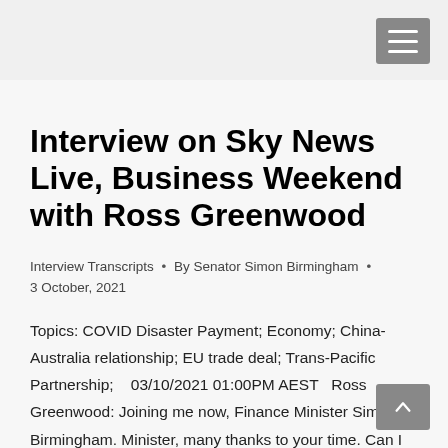Interview on Sky News Live, Business Weekend with Ross Greenwood
Interview Transcripts • By Senator Simon Birmingham • 3 October, 2021
Topics: COVID Disaster Payment; Economy; China-Australia relationship; EU trade deal; Trans-Pacific Partnership;   03/10/2021 01:00PM AEST   Ross Greenwood: Joining me now, Finance Minister Simon Birmingham. Minister, many thanks to your time. Can I just start with the suspension of the COVID relief payments as economies around Australia reopen. This week, you've been tackled in...